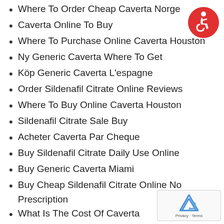Where To Order Cheap Caverta Norge
Caverta Online To Buy
Where To Purchase Online Caverta Houston
Ny Generic Caverta Where To Get
Köp Generic Caverta L'espagne
Order Sildenafil Citrate Online Reviews
Where To Buy Online Caverta Houston
Sildenafil Citrate Sale Buy
Acheter Caverta Par Cheque
Buy Sildenafil Citrate Daily Use Online
Buy Generic Caverta Miami
Buy Cheap Sildenafil Citrate Online No Prescription
What Is The Cost Of Caverta
Cheap Caverta Generic
Order Online Caverta L'espagne
Acheter Sildenafil Citrate En Ligne Livraison Rapide
[Figure (logo): Red circular accessibility icon with white wheelchair user symbol]
[Figure (logo): Google reCAPTCHA badge with Privacy and Terms text]